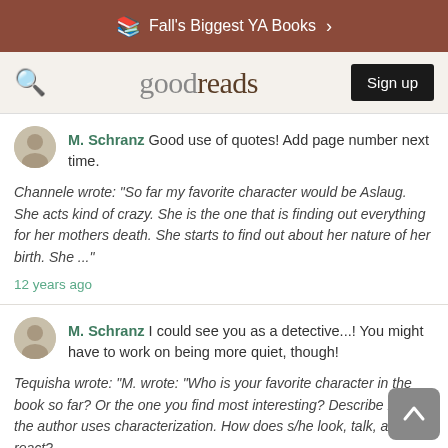Fall's Biggest YA Books
[Figure (screenshot): Goodreads navigation bar with search icon, goodreads logo, and Sign up button]
M. Schranz Good use of quotes! Add page number next time.
Channele wrote: "So far my favorite character would be Aslaug. She acts kind of crazy. She is the one that is finding out everything for her mothers death. She starts to find out about her nature of her birth. She ..."
12 years ago
M. Schranz I could see you as a detective...! You might have to work on being more quiet, though!
Tequisha wrote: "M. wrote: "Who is your favorite character in the book so far? Or the one you find most interesting? Describe how the author uses characterization. How does s/he look, talk, act, react? Respond in..."